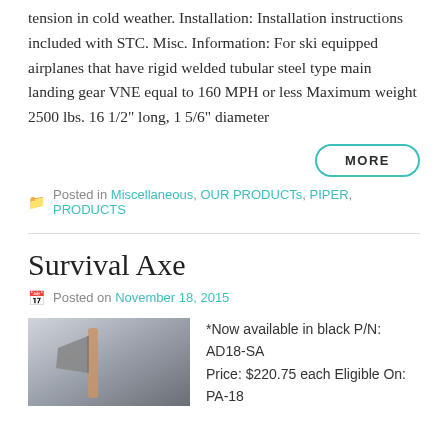tension in cold weather. Installation: Installation instructions included with STC. Misc. Information: For ski equipped airplanes that have rigid welded tubular steel type main landing gear VNE equal to 160 MPH or less Maximum weight 2500 lbs. 16 1/2" long, 1 5/6" diameter
MORE
Posted in Miscellaneous, OUR PRODUCTs, PIPER, PRODUCTS
Survival Axe
Posted on November 18, 2015
[Figure (photo): Photo of a survival axe with wooden handle against a light background]
*Now available in black P/N: AD18-SA Price: $220.75 each Eligible On: PA-18